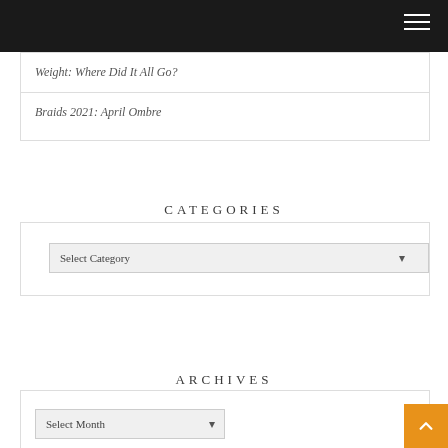Weight: Where Did It All Go?
Braids 2021: April Ombre
CATEGORIES
Select Category
ARCHIVES
Select Month